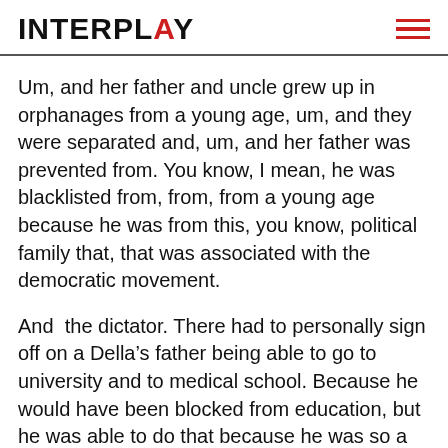INTERPLAY
Um, and her father and uncle grew up in orphanages from a young age, um, and they were separated and, um, and her father was prevented from. You know, I mean, he was blacklisted from, from, from a young age because he was from this, you know, political family that, that was associated with the democratic movement.
And  the dictator. There had to personally sign off on a Della’s father being able to go to university and to medical school. Because he would have been blocked from education, but he was able to do that because he was so a political and so harmless and so altruistic